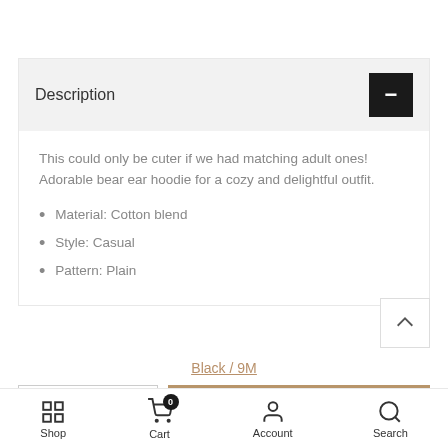Description
This could only be cuter if we had matching adult ones! Adorable bear ear hoodie for a cozy and delightful outfit.
Material: Cotton blend
Style: Casual
Pattern: Plain
Black / 9M
- 1 + ADD TO CART
Shop  Cart 0  Account  Search